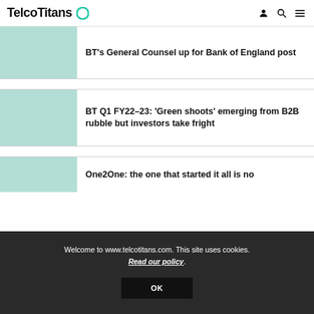TelcoTitans
BT's General Counsel up for Bank of England post
BT Q1 FY22–23: 'Green shoots' emerging from B2B rubble but investors take fright
One2One: the one that started it all is no
Welcome to www.telcotitans.com. This site uses cookies. Read our policy.
OK